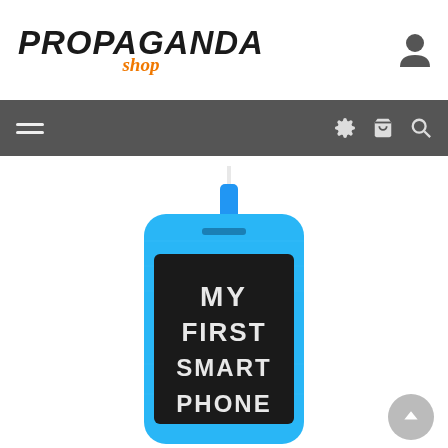[Figure (logo): Propaganda Shop logo — 'PROPAGANDA' in black hand-written style bold italic uppercase font, 'shop' in orange italic cursive below]
[Figure (screenshot): E-commerce website page showing Propaganda Shop with navigation bar (hamburger menu, settings gear, cart, search icons) and a product photo of a blue wooden smartphone-shaped toy with a black chalkboard screen reading 'MY FIRST SMART PHONE' in white chalk lettering]
[Figure (photo): Blue wooden toy shaped like a smartphone with a black screen/chalkboard area displaying text 'MY FIRST SMART PHONE' in white chalk-style lettering, with a blue stylus/pen and white cord attached at top]